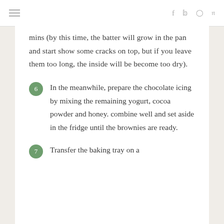≡  f  tw  ◻  P
mins (by this time, the batter will grow in the pan and start show some cracks on top, but if you leave them too long, the inside will be become too dry).
6 In the meanwhile, prepare the chocolate icing by mixing the remaining yogurt, cocoa powder and honey. combine well and set aside in the fridge until the brownies are ready.
7 Transfer the baking tray on a